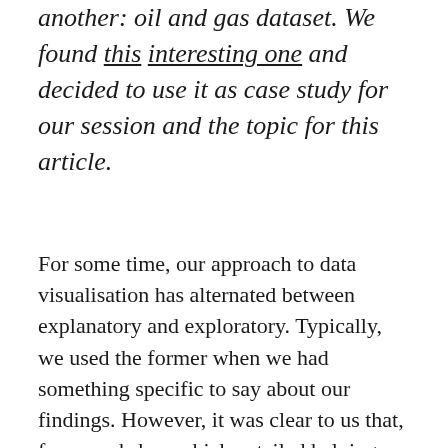another: oil and gas dataset. We found this interesting one and decided to use it as case study for our session and the topic for this article.
For some time, our approach to data visualisation has alternated between explanatory and exploratory. Typically, we used the former when we had something specific to say about our findings. However, it was clear to us that, for a workshop which entailed helping data novices (as most of the participants were) to understand the relevance and techniques of data storytelling, we had to lean towards the latter.